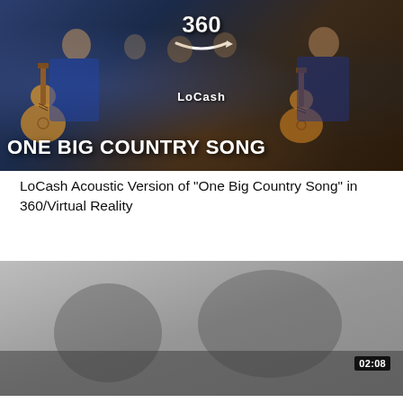[Figure (screenshot): YouTube video thumbnail for LoCash Acoustic Version of One Big Country Song in 360/Virtual Reality. Shows two musicians playing acoustic guitars with a crowd in background. Large white text reads 'LoCash' and 'ONE BIG COUNTRY SONG'. A 360 VR icon appears at the top.]
LoCash Acoustic Version of "One Big Country Song" in 360/Virtual Reality
[Figure (screenshot): Second video thumbnail, mostly gray/dark, with a duration badge showing 02:08 in the bottom right corner.]